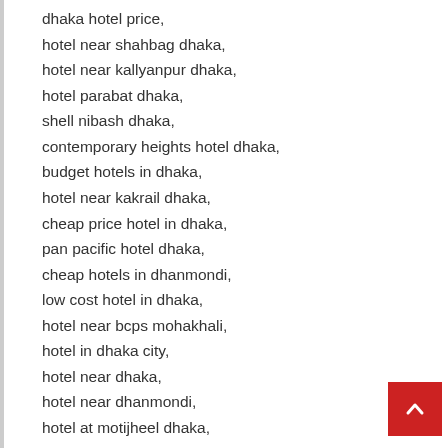dhaka hotel price,
hotel near shahbag dhaka,
hotel near kallyanpur dhaka,
hotel parabat dhaka,
shell nibash dhaka,
contemporary heights hotel dhaka,
budget hotels in dhaka,
hotel near kakrail dhaka,
cheap price hotel in dhaka,
pan pacific hotel dhaka,
cheap hotels in dhanmondi,
low cost hotel in dhaka,
hotel near bcps mohakhali,
hotel in dhaka city,
hotel near dhaka,
hotel near dhanmondi,
hotel at motijheel dhaka,
hotel near motijheel dhaka,
hotel tropical daisy dhaka,
cheap hotel in dhanmondi dhaka,